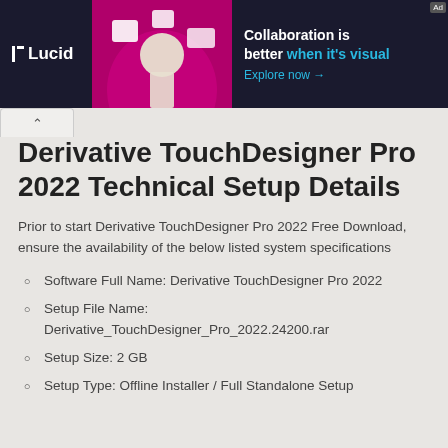[Figure (screenshot): Lucid advertisement banner with dark navy background. Shows the Lucid logo on the left, a magenta/purple image of a person with floating UI elements in the center, and text 'Collaboration is better when it's visual' with 'Explore now →' link on the right.]
Derivative TouchDesigner Pro 2022 Technical Setup Details
Prior to start Derivative TouchDesigner Pro 2022 Free Download, ensure the availability of the below listed system specifications
Software Full Name: Derivative TouchDesigner Pro 2022
Setup File Name: Derivative_TouchDesigner_Pro_2022.24200.rar
Setup Size: 2 GB
Setup Type: Offline Installer / Full Standalone Setup